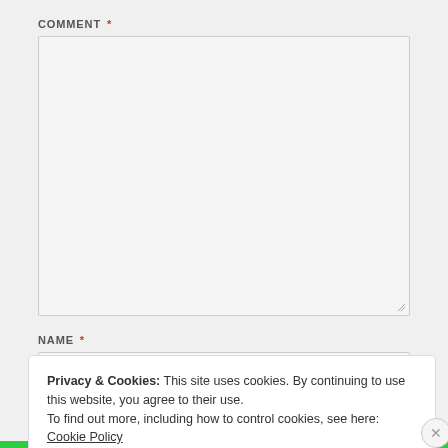COMMENT *
[Figure (other): Empty comment textarea input box with resize handle at bottom-right]
NAME *
[Figure (other): Empty name text input box]
Privacy & Cookies: This site uses cookies. By continuing to use this website, you agree to their use.
To find out more, including how to control cookies, see here: Cookie Policy
Close and accept